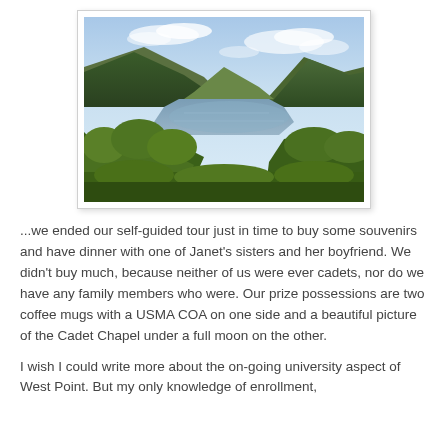[Figure (photo): Aerial landscape view of a river winding between forested hills and mountains under a partly cloudy sky, likely the Hudson River at West Point.]
...we ended our self-guided tour just in time to buy some souvenirs and have dinner with one of Janet's sisters and her boyfriend.  We didn't buy much, because neither of us were ever cadets, nor do we have any family members who were.  Our prize possessions are two coffee mugs with a USMA COA on one side and a beautiful picture of the Cadet Chapel under a full moon on the other.
I wish I could write more about the on-going university aspect of West Point.  But my only knowledge of enrollment,